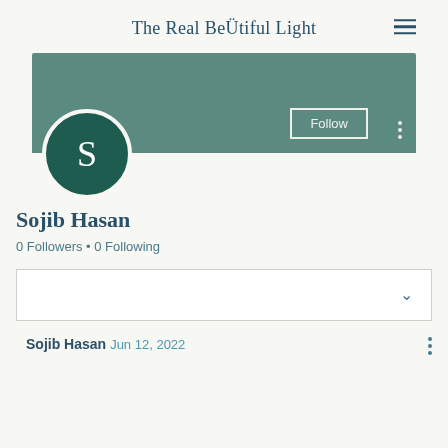The Real BeÜtiful Light
[Figure (screenshot): Blog/social media profile page screenshot showing a teal banner, circular avatar with letter S, user name Sojib Hasan, follower stats, a filter/sort dropdown box, and a post entry by Sojib Hasan dated Jun 12, 2022]
Sojib Hasan
0 Followers • 0 Following
Sojib Hasan
Jun 12, 2022